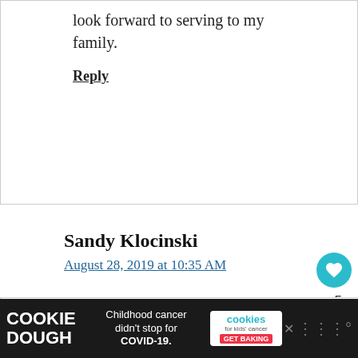look forward to serving to my family.
Reply
Sandy Klocinski
August 28, 2019 at 10:35 AM
Chicken Tortilla Soup is awesome! If only I had an Instant Pot! This sounds like something I would enjoy
COOKIE DOUGH Childhood cancer didn't stop for COVID-19. cookies for kids' cancer GET BAKING